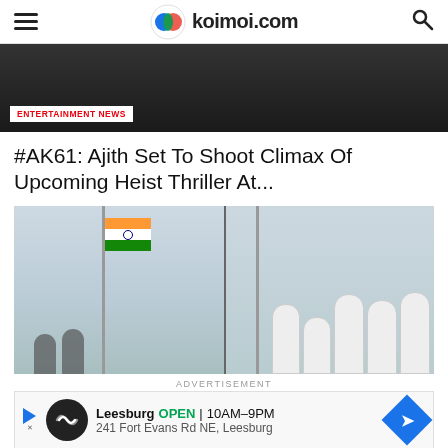koimoi.com
[Figure (photo): Top partial image of a person wearing a black shirt, with an ENTERTAINMENT NEWS label overlay]
#AK61: Ajith Set To Shoot Climax Of Upcoming Heist Thriller At...
[Figure (photo): Photo collage: left side shows Indian tricolor flag on a pole against a cloudy sky; right side shows a group of people in white clothes standing outdoors]
ADVERTISEMENT
[Figure (infographic): Advertisement banner: Leesburg OPEN 10AM-9PM, 241 Fort Evans Rd NE, Leesburg]